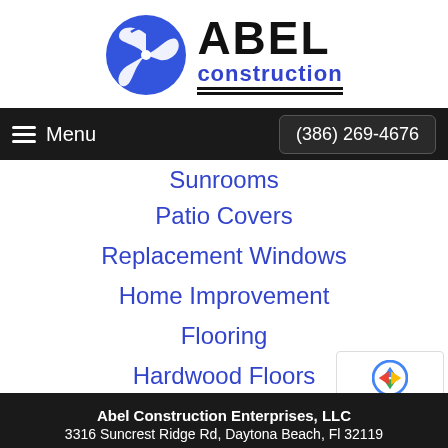[Figure (logo): Abel Construction logo: blue circular icon with three curved leaf shapes, text ABEL in bold black and 'construction' in blue underlined below]
Menu  (386) 269-4676
Sunrooms
Patio Covers
Replacement Windows
Home Improvement
Flooring
Hardwood Floors
Siding
Abel Construction Enterprises, LLC
3316 Suncrest Ridge Rd, Daytona Beach, Fl 32119